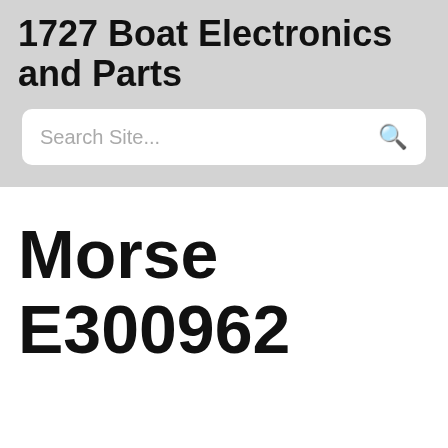1727 Boat Electronics and Parts
Search Site...
Morse E300962